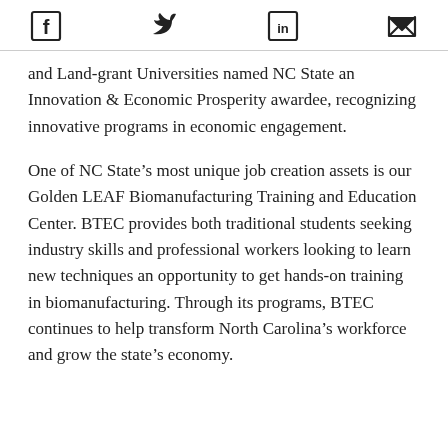[Social share icons: Facebook, Twitter, LinkedIn, Email]
and Land-grant Universities named NC State an Innovation & Economic Prosperity awardee, recognizing innovative programs in economic engagement.
One of NC State’s most unique job creation assets is our Golden LEAF Biomanufacturing Training and Education Center. BTEC provides both traditional students seeking industry skills and professional workers looking to learn new techniques an opportunity to get hands-on training in biomanufacturing. Through its programs, BTEC continues to help transform North Carolina’s workforce and grow the state’s economy.